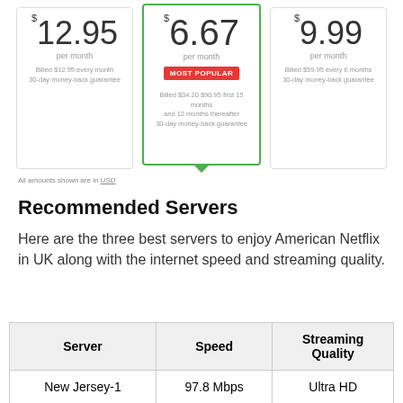[Figure (screenshot): Pricing cards showing three VPN subscription plans: $12.95 per month (billed monthly, 30-day money-back guarantee), $6.67 per month (MOST POPULAR badge, billed $34.20 $90.95 first 15 months and 12 months thereafter, 30-day money-back guarantee), $9.99 per month (billed $59.95 every 6 months, 30-day money-back guarantee). The middle card has a green border and a downward-pointing triangle.]
All amounts shown are in USD
Recommended Servers
Here are the three best servers to enjoy American Netflix in UK along with the internet speed and streaming quality.
| Server | Speed | Streaming Quality |
| --- | --- | --- |
| New Jersey-1 | 97.8 Mbps | Ultra HD |
| New York | 95.4 Mbps | Ultra HD |